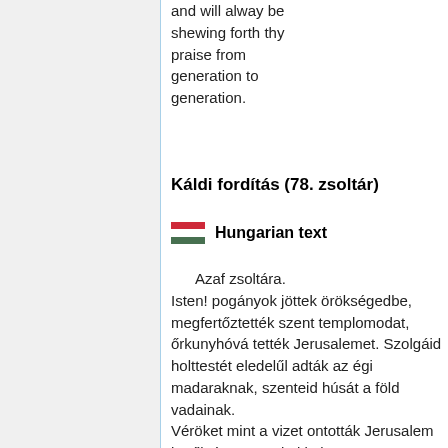and will alway be shewing forth thy praise from generation to generation.
Káldi fordítás (78. zsoltár)
🇭🇺 Hungarian text
Azaf zsoltára.
Isten! pogányok jöttek örökségedbe, megfertőztették szent templomodat, őrkunyhóvá tették Jerusalemet. Szolgáid holttestét eledelűl adták az égi madaraknak, szenteid húsát a föld vadainak.
Véröket mint a vizet ontották Jerusalem körűl, és nem volt, ki eltemesse.
Gyalázattá lettünk szomszédainknak, nevetséggé és csúfsággá azoknak, kik